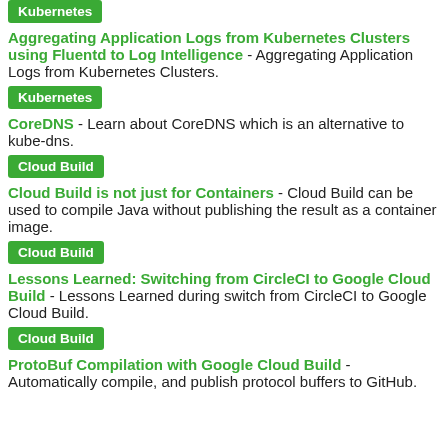Kubernetes
Aggregating Application Logs from Kubernetes Clusters using Fluentd to Log Intelligence - Aggregating Application Logs from Kubernetes Clusters.
Kubernetes
CoreDNS - Learn about CoreDNS which is an alternative to kube-dns.
Cloud Build
Cloud Build is not just for Containers - Cloud Build can be used to compile Java without publishing the result as a container image.
Cloud Build
Lessons Learned: Switching from CircleCI to Google Cloud Build - Lessons Learned during switch from CircleCI to Google Cloud Build.
Cloud Build
ProtoBuf Compilation with Google Cloud Build - Automatically compile, and publish protocol buffers to GitHub.